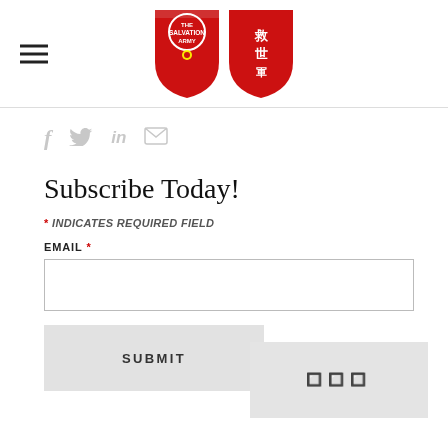The Salvation Army logo header with hamburger menu
[Figure (logo): The Salvation Army dual shield logo — red English shield and red Chinese shield side by side]
[Figure (infographic): Social sharing icons: Facebook (f), Twitter (bird), LinkedIn (in), Email (envelope) — all in light gray]
Subscribe Today!
* INDICATES REQUIRED FIELD
EMAIL *
SUBMIT
[Figure (other): CAPTCHA image box with pixelated characters on light gray background]